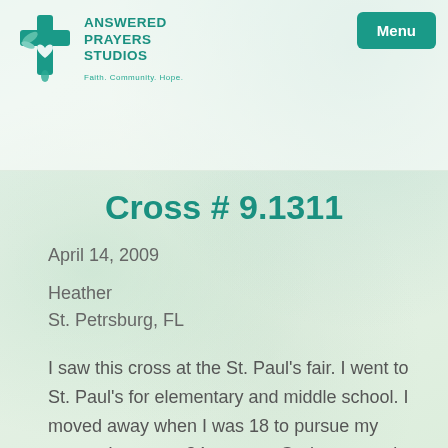[Figure (logo): Answered Prayers Studios logo with teal cross and heart, tagline Faith. Community. Hope.]
Cross # 9.1311
April 14, 2009
Heather
St. Petrsburg, FL
I saw this cross at the St. Paul's fair. I went to St. Paul's for elementary and middle school. I moved away when I was 18 to pursue my career. I am now 34 yrs ago. God answered a long-standing prayer of mine